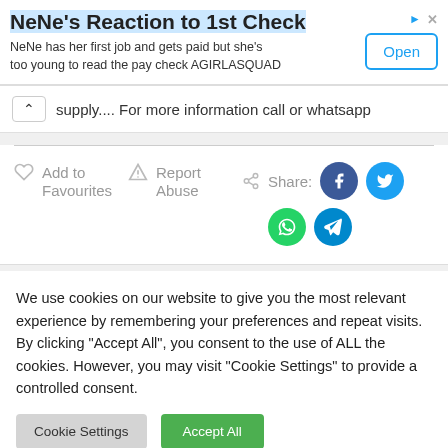[Figure (screenshot): Advertisement banner: NeNe's Reaction to 1st Check with Open button]
supply.... For more information call or whatsapp
[Figure (infographic): Action buttons: Add to Favourites, Report Abuse, Share with Facebook, Twitter, WhatsApp, Telegram icons]
We use cookies on our website to give you the most relevant experience by remembering your preferences and repeat visits. By clicking "Accept All", you consent to the use of ALL the cookies. However, you may visit "Cookie Settings" to provide a controlled consent.
Cookie Settings
Accept All